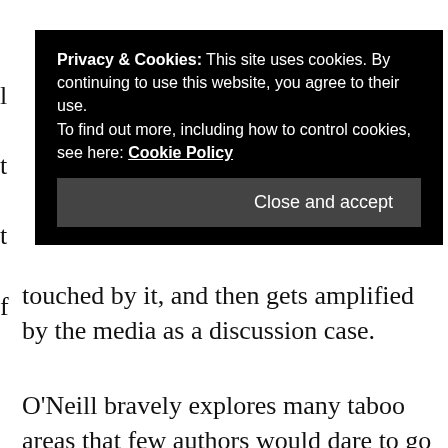[Figure (screenshot): Cookie consent banner overlay on a webpage. Black background banner with white text reading: 'Privacy & Cookies: This site uses cookies. By continuing to use this website, you agree to their use. To find out more, including how to control cookies, see here: Cookie Policy' with a 'Close and accept' button on the right.]
touched by it, and then gets amplified by the media as a discussion case.
O'Neill bravely explores many taboo areas that few authors would dare to go near. Sexual consent and shaming on social media may be the headline issues, but the deleterious effects on the mental health of Emma and her family isn't far behind.
We see everything from Emma's perspective though, and through her, O'Neill speaks directly to her older teenaged readers. It is made horribly clear what being raped could be like and O'Neill talked to many rape victims in writing this book